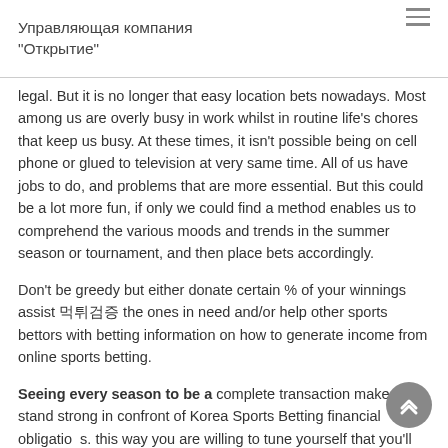Управляющая компания "Открытие"
legal. But it is no longer that easy location bets nowadays. Most among us are overly busy in work whilst in routine life's chores that keep us busy. At these times, it isn't possible being on cell phone or glued to television at very same time. All of us have jobs to do, and problems that are more essential. But this could be a lot more fun, if only we could find a method enables us to comprehend the various moods and trends in the summer season or tournament, and then place bets accordingly.
Don't be greedy but either donate certain % of your winnings assist 먹튀검증 the ones in need and/or help other sports bettors with betting information on how to generate income from online sports betting.
Seeing every season to be a complete transaction makes you stand strong in confront of Korea Sports Betting financial obligations. this way you are willing to tune yourself that you'll get a positive figure over your initial outlay at the conclusion of the moment. You